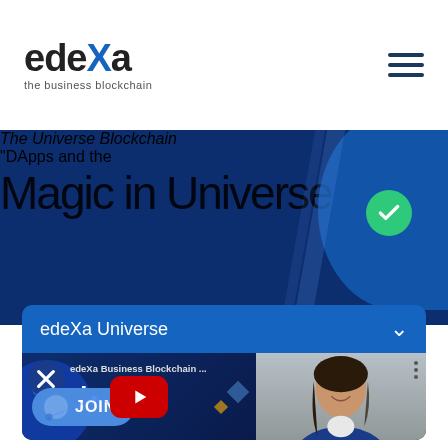edeXa — the business blockchain
[Figure (screenshot): edeXa website screenshot showing promotional banner with text 'The Universe Blockchain' and '"DApps and the Magic in Universe' on dark blue background with decorative elements]
edeXa Universe
[Figure (screenshot): YouTube video thumbnail showing edeXa Business Blockchain channel with logo, JOIN button, woman smiling, and YouTube play button]